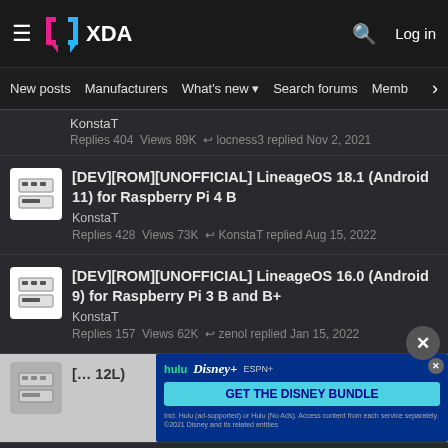XDA Developers forum header with logo, search icon, and Log in link
New posts | Manufacturers | What's new | Search forums | Members
KonstaT
Replies 404  Views 89K  ↩ locness3 replied Nov 2, 2021
[DEV][ROM][UNOFFICIAL] LineageOS 18.1 (Android 11) for Raspberry Pi 4 B
KonstaT
Replies 428  Views 73K  ↩ KonstaT replied Aug 15, 2022
[DEV][ROM][UNOFFICIAL] LineageOS 16.0 (Android 9) for Raspberry Pi 3 B and B+
KonstaT
Replies 157  Views 62K  ↩ zenol replied Jan 15, 2022
[Figure (screenshot): Partial forum entry visible below with Disney Bundle advertisement overlay]
Replies 41 5  Views 50K  ↩ Plis ano flow replied Nov 19, 2022 (partially visible)